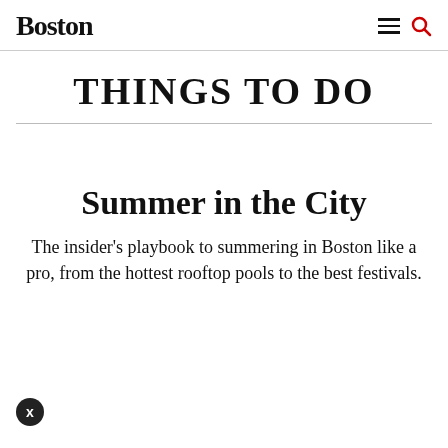Boston
THINGS TO DO
Summer in the City
The insider's playbook to summering in Boston like a pro, from the hottest rooftop pools to the best festivals.